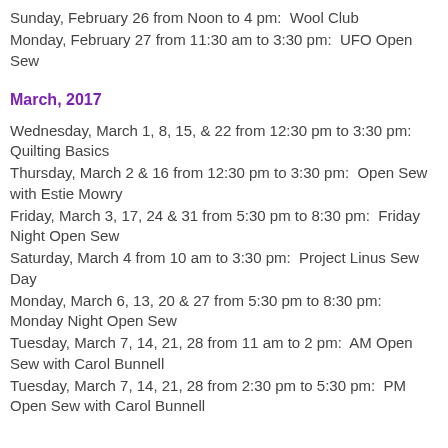Sunday, February 26 from Noon to 4 pm:  Wool Club
Monday, February 27 from 11:30 am to 3:30 pm:  UFO Open Sew
March, 2017
Wednesday, March 1, 8, 15, & 22 from 12:30 pm to 3:30 pm: Quilting Basics
Thursday, March 2 & 16 from 12:30 pm to 3:30 pm:  Open Sew with Estie Mowry
Friday, March 3, 17, 24 & 31 from 5:30 pm to 8:30 pm:  Friday Night Open Sew
Saturday, March 4 from 10 am to 3:30 pm:  Project Linus Sew Day
Monday, March 6, 13, 20 & 27 from 5:30 pm to 8:30 pm: Monday Night Open Sew
Tuesday, March 7, 14, 21, 28 from 11 am to 2 pm:  AM Open Sew with Carol Bunnell
Tuesday, March 7, 14, 21, 28 from 2:30 pm to 5:30 pm:  PM Open Sew with Carol Bunnell